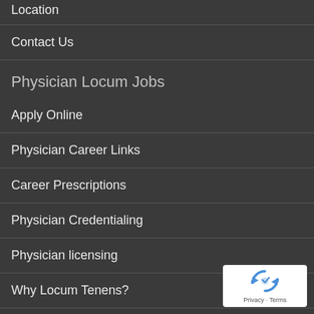Location
Contact Us
Physician Locum Jobs
Apply Online
Physician Career Links
Career Prescriptions
Physician Credentialing
Physician licensing
Why Locum Tenens?
Locum Tenens Job Alerts
Locum Tenens Staffing
Request Coverage
[Figure (logo): reCAPTCHA badge with spinning arrows logo and 'Privacy - Terms' text]